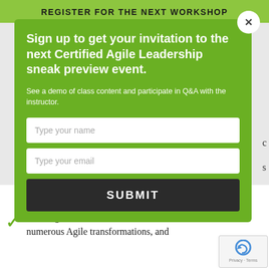REGISTER FOR THE NEXT WORKSHOP
Sign up to get your invitation to the next Certified Agile Leadership sneak preview event.
See a demo of class content and participate in Q&A with the instructor.
Type your name
Type your email
SUBMIT
as an Agile coach at Forrester, lead numerous Agile transformations, and